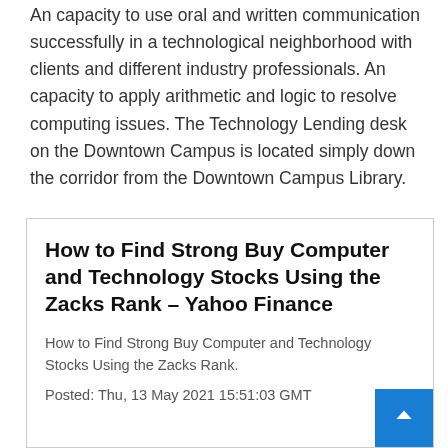An capacity to use oral and written communication successfully in a technological neighborhood with clients and different industry professionals. An capacity to apply arithmetic and logic to resolve computing issues. The Technology Lending desk on the Downtown Campus is located simply down the corridor from the Downtown Campus Library.
How to Find Strong Buy Computer and Technology Stocks Using the Zacks Rank – Yahoo Finance
How to Find Strong Buy Computer and Technology Stocks Using the Zacks Rank.
Posted: Thu, 13 May 2021 15:51:03 GMT